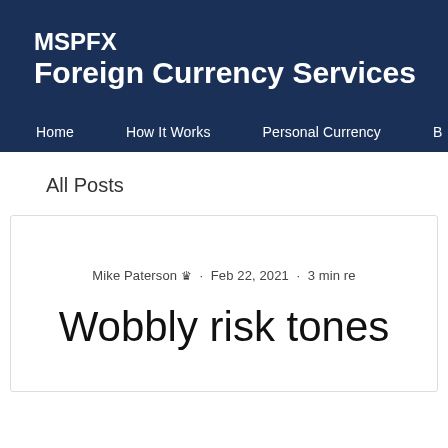MSPFX Foreign Currency Services
Home   How It Works   Personal Currency   B
All Posts
Mike Paterson 👑 · Feb 22, 2021 · 3 min re
Wobbly risk tones